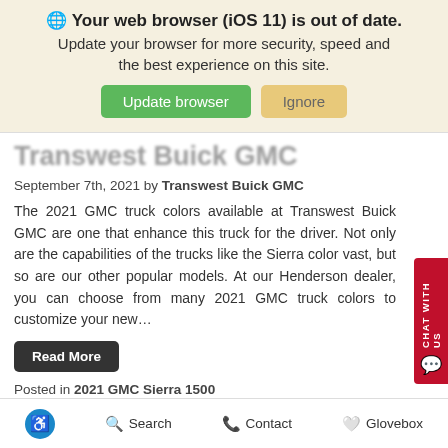🌐 Your web browser (iOS 11) is out of date. Update your browser for more security, speed and the best experience on this site. [Update browser] [Ignore]
Transwest Buick GMC (partially visible)
September 7th, 2021 by Transwest Buick GMC
The 2021 GMC truck colors available at Transwest Buick GMC are one that enhance this truck for the driver. Not only are the capabilities of the trucks like the Sierra color vast, but so are our other popular models. At our Henderson dealer, you can choose from many 2021 GMC truck colors to customize your new...
Read More
Posted in 2021 GMC Sierra 1500
Picking the Right Color for (partially visible)
[Accessibility] Search  Contact  Glovebox